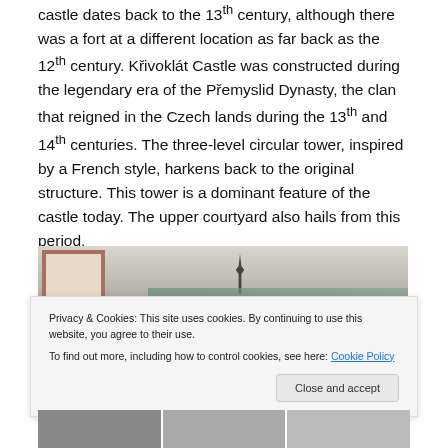castle dates back to the 13th century, although there was a fort at a different location as far back as the 12th century. Křivoklát Castle was constructed during the legendary era of the Přemyslid Dynasty, the clan that reigned in the Czech lands during the 13th and 14th centuries. The three-level circular tower, inspired by a French style, harkens back to the original structure. This tower is a dominant feature of the castle today. The upper courtyard also hails from this period.
[Figure (photo): Partial view of castle area with finial/spire visible, framed artwork on wall, and distant tree line visible.]
Privacy & Cookies: This site uses cookies. By continuing to use this website, you agree to their use.
To find out more, including how to control cookies, see here: Cookie Policy
[Figure (photo): Bottom strip showing partial photographs of castle interior or grounds.]